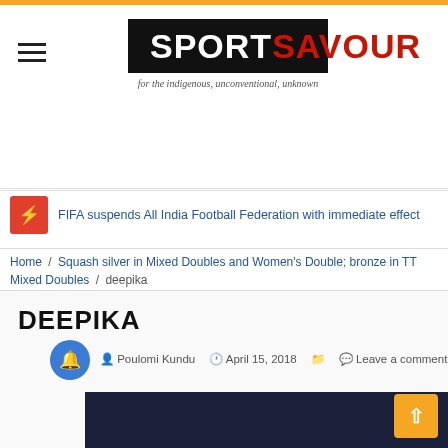SPORTSAVOUR — for the indigenous, unconventional, unknown
FIFA suspends All India Football Federation with immediate effect
Home / Squash silver in Mixed Doubles and Women's Double; bronze in TT Mixed Doubles / deepika
DEEPIKA
Poulomi Kundu   April 15, 2018   Leave a comment